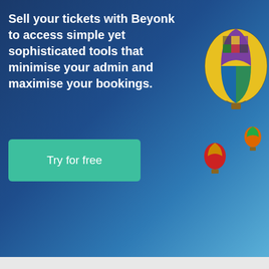[Figure (screenshot): Website banner with blue gradient background, hot air balloons on the right, white headline text, and a teal 'Try for free' button]
Stand Up Paddle Boarding In Peak District
Stand Up Paddle Boarding is one of the fastest growing water sports across the World right now, and it's easy to see why. It's one of the quietest and most relaxing ways to travel across water and to explore, meaning you can get incredibly close up to wildlife without scaring it
Cookie policy
As with most websites, we use cookies to deliver an optimal experience on Beyonk. By clicking accept you consent to our privacy policy.